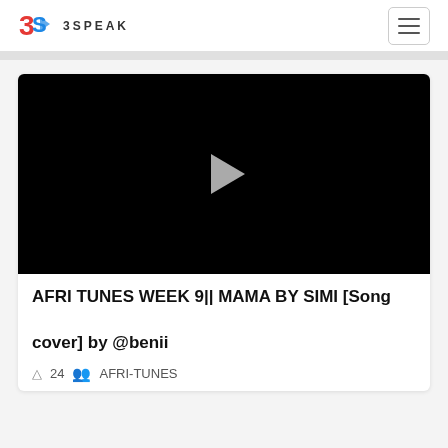3SPEAK
[Figure (screenshot): Black video thumbnail with a grey play button triangle in the center]
AFRI TUNES WEEK 9|| MAMA BY SIMI [Song cover] by @benii
24  AFRI-TUNES